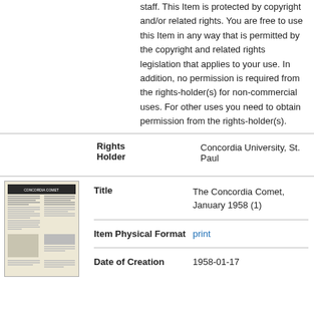staff. This Item is protected by copyright and/or related rights. You are free to use this Item in any way that is permitted by the copyright and related rights legislation that applies to your use. In addition, no permission is required from the rights-holder(s) for non-commercial uses. For other uses you need to obtain permission from the rights-holder(s).
| Rights Holder | Concordia University, St. Paul |
| Title | The Concordia Comet, January 1958 (1) |
| Item Physical Format | print |
| Date of Creation | 1958-01-17 |
[Figure (photo): Thumbnail image of a newspaper page - The Concordia Comet]